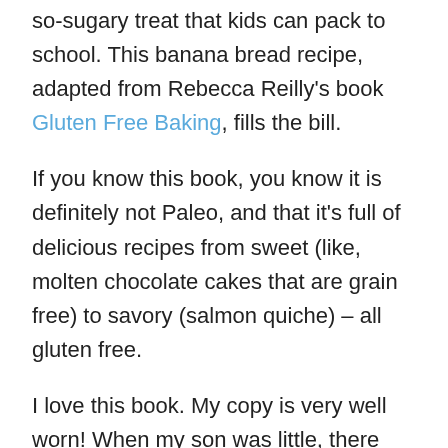so-sugary treat that kids can pack to school. This banana bread recipe, adapted from Rebecca Reilly's book Gluten Free Baking, fills the bill.
If you know this book, you know it is definitely not Paleo, and that it's full of delicious recipes from sweet (like, molten chocolate cakes that are grain free) to savory (salmon quiche) – all gluten free.
I love this book. My copy is very well worn! When my son was little, there were precious few gluten free products on